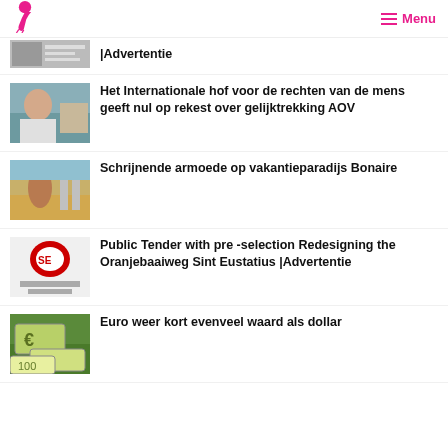Flamingo logo / Menu
|Advertentie
Het Internationale hof voor de rechten van de mens geeft nul op rekest over gelijktrekking AOV
Schrijnende armoede op vakantieparadijs Bonaire
Public Tender with pre -selection Redesigning the Oranjebaaiweg Sint Eustatius |Advertentie
Euro weer kort evenveel waard als dollar